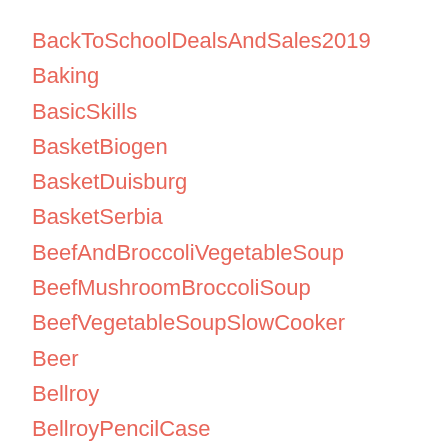BackToSchoolDealsAndSales2019
Baking
BasicSkills
BasketBiogen
BasketDuisburg
BasketSerbia
BeefAndBroccoliVegetableSoup
BeefMushroomBroccoliSoup
BeefVegetableSoupSlowCooker
Beer
Bellroy
BellroyPencilCase
BestBinderForCollege
BestBindersForCollege